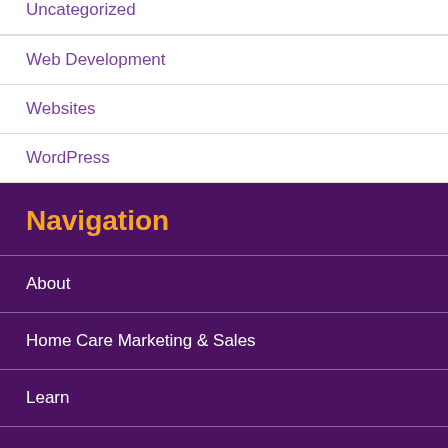Uncategorized
Web Development
Websites
WordPress
Navigation
About
Home Care Marketing & Sales
Learn
Directory Listings
Blog